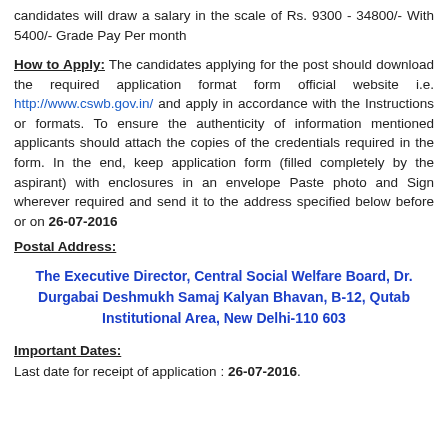candidates will draw a salary in the scale of Rs. 9300 - 34800/- With 5400/- Grade Pay Per month
How to Apply: The candidates applying for the post should download the required application format form official website i.e. http://www.cswb.gov.in/ and apply in accordance with the Instructions or formats. To ensure the authenticity of information mentioned applicants should attach the copies of the credentials required in the form. In the end, keep application form (filled completely by the aspirant) with enclosures in an envelope Paste photo and Sign wherever required and send it to the address specified below before or on 26-07-2016
Postal Address:
The Executive Director, Central Social Welfare Board, Dr. Durgabai Deshmukh Samaj Kalyan Bhavan, B-12, Qutab Institutional Area, New Delhi-110 603
Important Dates:
Last date for receipt of application : 26-07-2016.